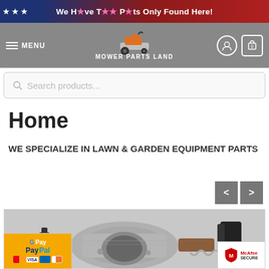We Have The Parts Only Found Here!
[Figure (screenshot): Mower Parts Land website navigation bar with hamburger menu, logo with riding mower image, and cart/user icons]
[Figure (screenshot): Search products search bar]
Home
WE SPECIALIZE IN LAWN & GARDEN EQUIPMENT PARTS
[Figure (photo): Close-up photo of a carburetor or engine part with metal housing, spring, and black caps visible]
[Figure (logo): Payment methods badge showing Google Pay, PayPal, Mastercard, Visa, and Discover logos on orange background]
[Figure (logo): McAfee SECURE trust badge]